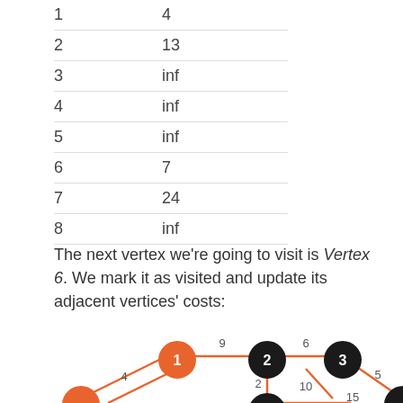| Vertex | Cost |
| --- | --- |
| 1 | 4 |
| 2 | 13 |
| 3 | inf |
| 4 | inf |
| 5 | inf |
| 6 | 7 |
| 7 | 24 |
| 8 | inf |
The next vertex we're going to visit is Vertex 6. We mark it as visited and update its adjacent vertices' costs:
[Figure (network-graph): A graph showing vertices 1, 2, 3 (and partially visible others) connected by orange edges with weights 9, 6, 2, 10, 4, 5, 15 labeled on edges. Vertices 1 is orange (visited), vertices 2 and 3 are dark/black circles.]